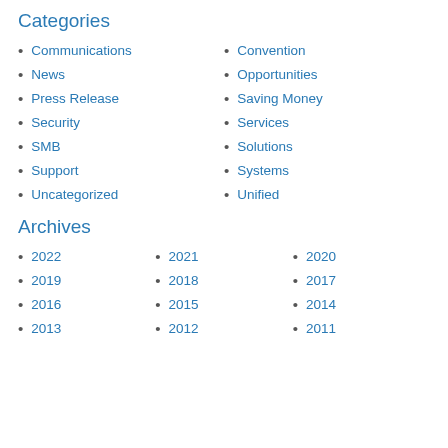Categories
Communications
Convention
News
Opportunities
Press Release
Saving Money
Security
Services
SMB
Solutions
Support
Systems
Uncategorized
Unified
Archives
2022
2021
2020
2019
2018
2017
2016
2015
2014
2013
2012
2011